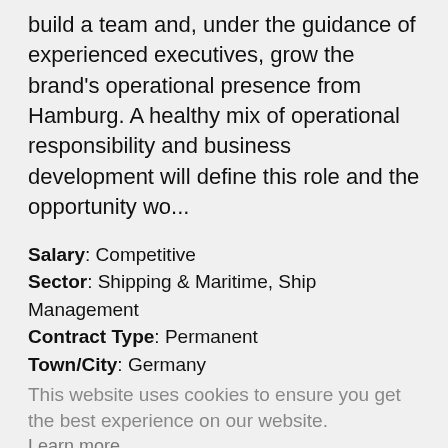build a team and, under the guidance of experienced executives, grow the brand's operational presence from Hamburg. A healthy mix of operational responsibility and business development will define this role and the opportunity wo...
Salary: Competitive
Sector: Shipping & Maritime, Ship Management
Contract Type: Permanent
Town/City: Germany
This website uses cookies to ensure you get the best experience on our website.
Learn more
PORTS AND HARBOURS MARINE CONSULTANT
This role will see the lucky candidate have a